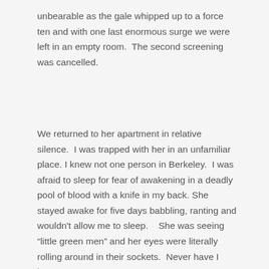unbearable as the gale whipped up to a force ten and with one last enormous surge we were left in an empty room.  The second screening was cancelled.
We returned to her apartment in relative silence.  I was trapped with her in an unfamiliar place. I knew not one person in Berkeley.  I was afraid to sleep for fear of awakening in a deadly pool of blood with a knife in my back. She stayed awake for five days babbling, ranting and wouldn't allow me to sleep.   She was seeing “little green men” and her eyes were literally rolling around in their sockets.  Never have I been